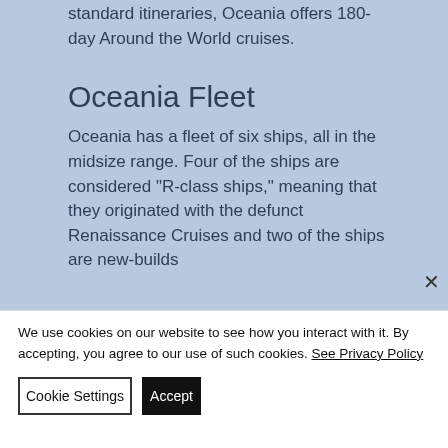standard itineraries, Oceania offers 180-day Around the World cruises.
Oceania Fleet
Oceania has a fleet of six ships, all in the midsize range. Four of the ships are considered "R-class ships," meaning that they originated with the defunct Renaissance Cruises and two of the ships are new-builds
We use cookies on our website to see how you interact with it. By accepting, you agree to our use of such cookies. See Privacy Policy
Cookie Settings
Accept